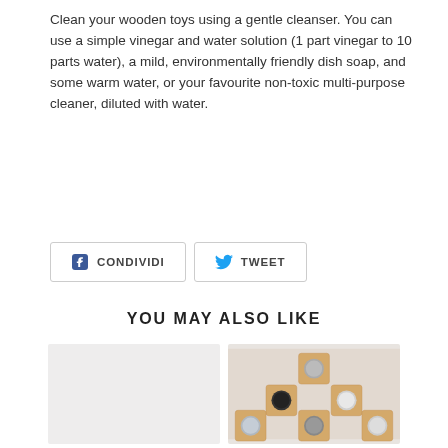Clean your wooden toys using a gentle cleanser. You can use a simple vinegar and water solution (1 part vinegar to 10 parts water), a mild, environmentally friendly dish soap, and some warm water, or your favourite non-toxic multi-purpose cleaner, diluted with water.
[Figure (other): Social sharing buttons: CONDIVIDI (Facebook share) and TWEET (Twitter share)]
YOU MAY ALSO LIKE
[Figure (photo): Left product image with light gray background (product not visible)]
[Figure (photo): Right product image showing wooden square blocks arranged in a staircase pattern, each block containing circular stones or gems in various shades of gray, black, and white]